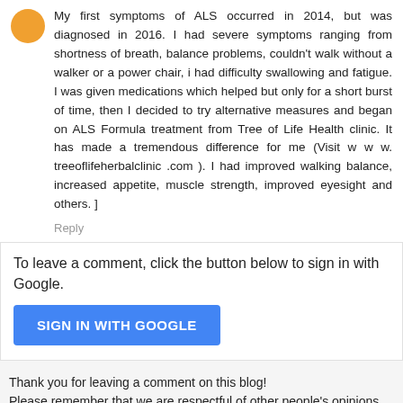My first symptoms of ALS occurred in 2014, but was diagnosed in 2016. I had severe symptoms ranging from shortness of breath, balance problems, couldn't walk without a walker or a power chair, i had difficulty swallowing and fatigue. I was given medications which helped but only for a short burst of time, then I decided to try alternative measures and began on ALS Formula treatment from Tree of Life Health clinic. It has made a tremendous difference for me (Visit w w w. treeoflifeherbalclinic .com ). I had improved walking balance, increased appetite, muscle strength, improved eyesight and others. ]
Reply
To leave a comment, click the button below to sign in with Google.
[Figure (other): SIGN IN WITH GOOGLE button - blue rounded rectangle button]
Thank you for leaving a comment on this blog! Please remember that we are respectful of other people's opinions.